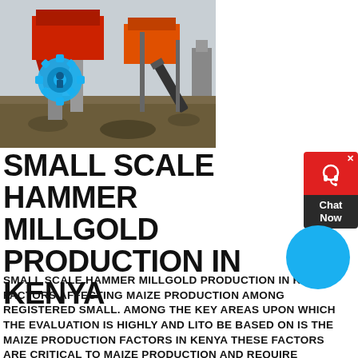[Figure (photo): Industrial mining/crushing equipment with red machinery, conveyor belts, and a blue gear logo overlay, set on a dirt terrain under an overcast sky.]
SMALL SCALE HAMMER MILLGOLD PRODUCTION IN KENYA
SMALL SCALE HAMMER MILLGOLD PRODUCTION IN KENYA. FACTORS AFFECTING MAIZE PRODUCTION AMONG REGISTERED SMALL. AMONG THE KEY AREAS UPON WHICH THE EVALUATION IS HIGHLY AND LIKELY TO BE BASED ON IS THE MAIZE PRODUCTION FACTORS IN KENYA THESE FACTORS ARE CRITICAL TO MAIZE PRODUCTION AND REQUIRE ATTENTION THIS STUDY THEREFORE SOUGHT TO UNDERTAKE ON THIS EVALUATION NARROWING THE FOCUS DOWN TO